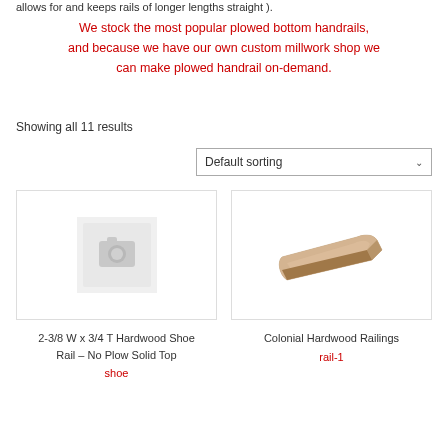allows for and keeps rails of longer lengths straight ).
We stock the most popular plowed bottom handrails, and because we have our own custom millwork shop we can make plowed handrail on-demand.
Showing all 11 results
[Figure (screenshot): Default sorting dropdown selector]
[Figure (photo): Placeholder image for product with no photo - grey camera icon]
[Figure (photo): Photo of Colonial Hardwood Railings - a wooden handrail piece shown in tan/brown wood]
2-3/8 W x 3/4 T Hardwood Shoe Rail – No Plow Solid Top
shoe
Colonial Hardwood Railings
rail-1